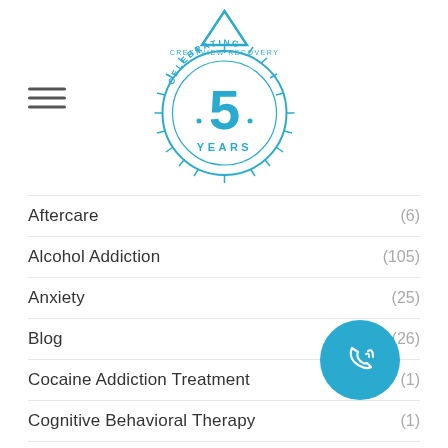[Figure (logo): Crestview Recovery logo — a mountain peak above a circular badge reading 'Celebrating 5 Years' with radiating lines]
Aftercare (6)
Alcohol Addiction (105)
Anxiety (25)
Blog (26)
Cocaine Addiction Treatment (1)
Cognitive Behavioral Therapy (1)
Controlled Substances (24)
Depression (20)
Detox (39)